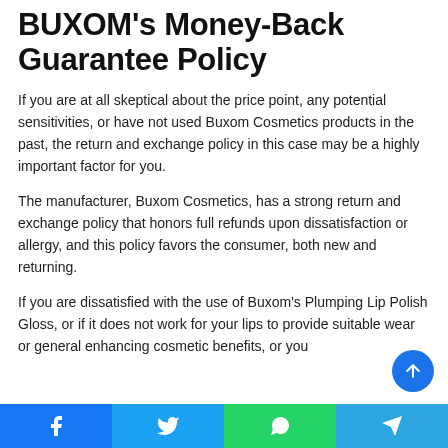BUXOM's Money-Back Guarantee Policy
If you are at all skeptical about the price point, any potential sensitivities, or have not used Buxom Cosmetics products in the past, the return and exchange policy in this case may be a highly important factor for you.
The manufacturer, Buxom Cosmetics, has a strong return and exchange policy that honors full refunds upon dissatisfaction or allergy, and this policy favors the consumer, both new and returning.
If you are dissatisfied with the use of Buxom's Plumping Lip Polish Gloss, or if it does not work for your lips to provide suitable wear or general enhancing cosmetic benefits, or you...
Facebook | Twitter | WhatsApp | Telegram